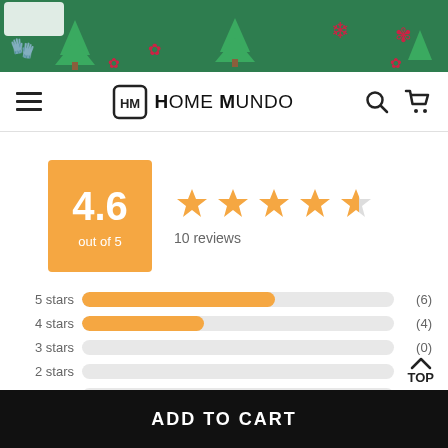[Figure (illustration): Christmas themed banner with green background, red and green decorations including snowflakes, ornaments, trees, and mittens]
HOME MUNDO - navigation bar with hamburger menu, logo, search and cart icons
[Figure (infographic): Rating score of 4.6 out of 5 shown in orange box, with 4.5 stars displayed and 10 reviews count]
[Figure (bar-chart): Star ratings breakdown]
ADD TO CART